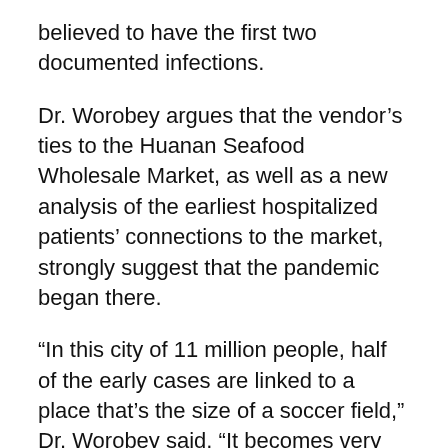believed to have the first two documented infections.
Dr. Worobey argues that the vendor’s ties to the Huanan Seafood Wholesale Market, as well as a new analysis of the earliest hospitalized patients’ connections to the market, strongly suggest that the pandemic began there.
“In this city of 11 million people, half of the early cases are linked to a place that’s the size of a soccer field,” Dr. Worobey said. “It becomes very difficult to explain that pattern if the outbreak didn’t start at the market.”
Several experts, including one of the pandemic investigators chosen by the W.H.O., said that Dr.